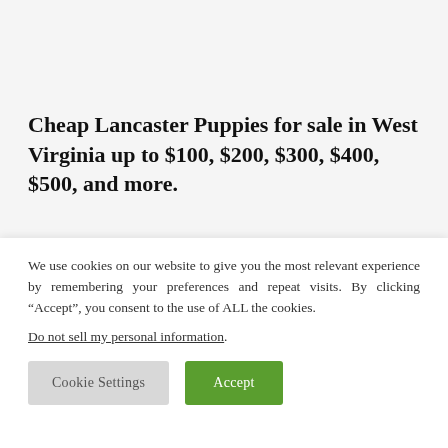Cheap Lancaster Puppies for sale in West Virginia up to $100, $200, $300, $400, $500, and more.
[Figure (photo): Partial view of puppies on grass, showing close-up of puppy faces and green background]
We use cookies on our website to give you the most relevant experience by remembering your preferences and repeat visits. By clicking “Accept”, you consent to the use of ALL the cookies.
Do not sell my personal information.